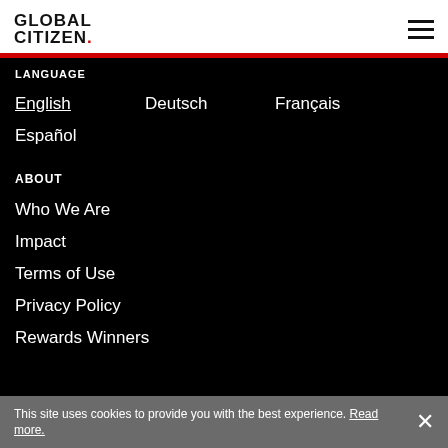GLOBAL CITIZEN.
LANGUAGE
English
Deutsch
Français
Español
ABOUT
Who We Are
Impact
Terms of Use
Privacy Policy
Rewards Winners
This site uses cookies to provide you with the best experience. Read more.